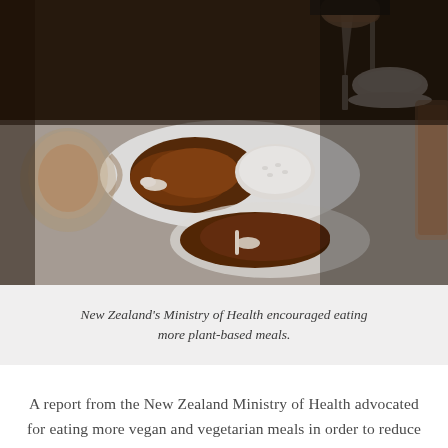[Figure (photo): A restaurant table scene showing meat dishes (grilled/roasted meat with bones and rice) being eaten, with hands holding cutlery, glassware including a teapot and drinks visible in the background. Dark, moody photography style.]
New Zealand's Ministry of Health encouraged eating more plant-based meals.
A report from the New Zealand Ministry of Health advocated for eating more vegan and vegetarian meals in order to reduce the sector's carbon footprint. The report looked at the various ways the health sector can reduce its ecological impact, such as using less electricity and serving fewer animal products. Plant-based food should be served